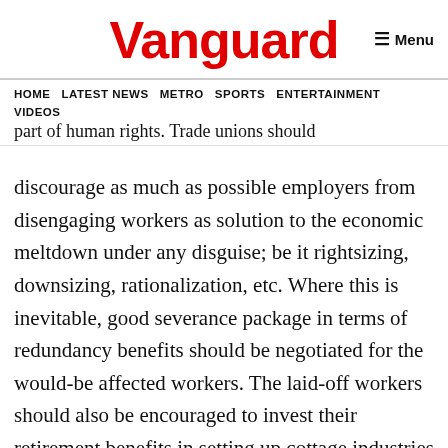Vanguard
HOME  LATEST NEWS  METRO  SPORTS  ENTERTAINMENT  VIDEOS
part of human rights. Trade unions should discourage as much as possible employers from disengaging workers as solution to the economic meltdown under any disguise; be it rightsizing, downsizing, rationalization, etc. Where this is inevitable, good severance package in terms of redundancy benefits should be negotiated for the would-be affected workers. The laid-off workers should also be encouraged to invest their retirement benefits in setting up cottage industries as this is capable of engendering employment no matter how small.â€